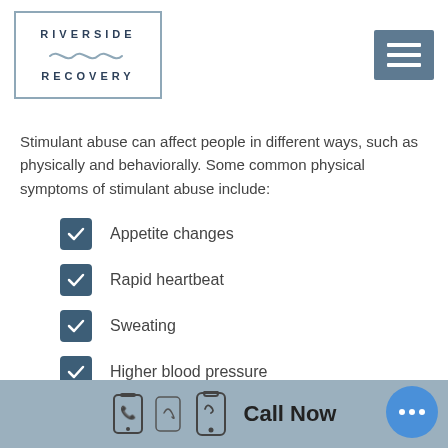[Figure (logo): Riverside Recovery logo in a rectangular border with wavy line]
[Figure (other): Hamburger menu icon (three horizontal white lines on dark blue-grey square)]
Stimulant abuse can affect people in different ways, such as physically and behaviorally. Some common physical symptoms of stimulant abuse include:
Appetite changes
Rapid heartbeat
Sweating
Higher blood pressure
Call Now